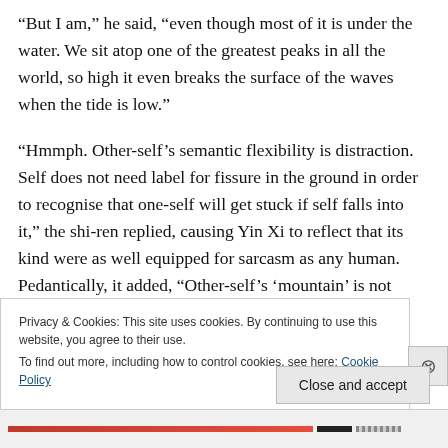“But I am,” he said, “even though most of it is under the water. We sit atop one of the greatest peaks in all the world, so high it even breaks the surface of the waves when the tide is low.”
“Hmmph. Other-self’s semantic flexibility is distraction. Self does not need label for fissure in the ground in order to recognise that one-self will get stuck if self falls into it,” the shi-ren replied, causing Yin Xi to reflect that its kind were as well equipped for sarcasm as any human. Pedantically, it added, “Other-self’s ‘mountain’ is not green, nor is there
Privacy & Cookies: This site uses cookies. By continuing to use this website, you agree to their use.
To find out more, including how to control cookies, see here: Cookie Policy
Close and accept